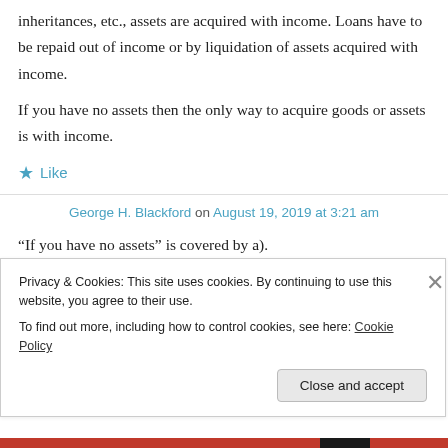inheritances, etc., assets are acquired with income. Loans have to be repaid out of income or by liquidation of assets acquired with income.
If you have no assets then the only way to acquire goods or assets is with income.
★ Like
George H. Blackford on August 19, 2019 at 3:21 am
“If you have no assets” is covered by a).
Privacy & Cookies: This site uses cookies. By continuing to use this website, you agree to their use.
To find out more, including how to control cookies, see here: Cookie Policy
Close and accept